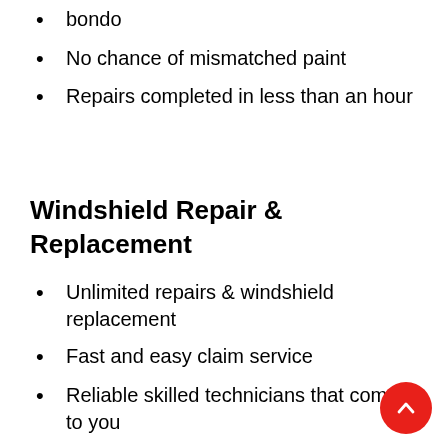bondo
No chance of mismatched paint
Repairs completed in less than an hour
Windshield Repair & Replacement
Unlimited repairs & windshield replacement
Fast and easy claim service
Reliable skilled technicians that come to you
Permanent repairs guaranteed for life
Zero out of pocket expense